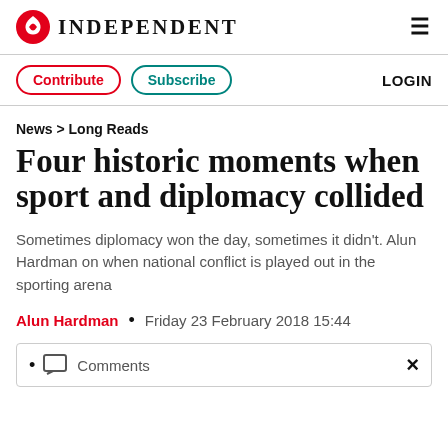INDEPENDENT
Contribute | Subscribe | LOGIN
News > Long Reads
Four historic moments when sport and diplomacy collided
Sometimes diplomacy won the day, sometimes it didn't. Alun Hardman on when national conflict is played out in the sporting arena
Alun Hardman • Friday 23 February 2018 15:44
• Comments